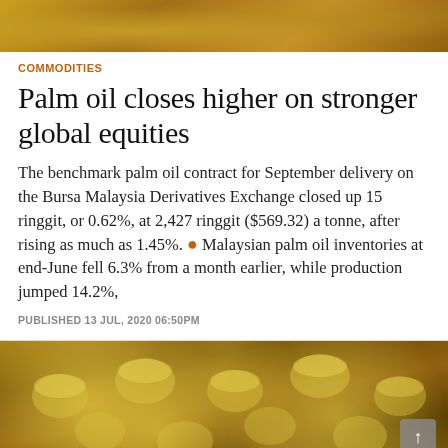[Figure (photo): Close-up photo of cooking oil bottles with yellow caps, warm amber/golden tones, partially visible at top of page]
COMMODITIES
Palm oil closes higher on stronger global equities
The benchmark palm oil contract for September delivery on the Bursa Malaysia Derivatives Exchange closed up 15 ringgit, or 0.62%, at 2,427 ringgit ($569.32) a tonne, after rising as much as 1.45%. • Malaysian palm oil inventories at end-June fell 6.3% from a month earlier, while production jumped 14.2%,
PUBLISHED 13 JUL, 2020 06:50PM
[Figure (photo): Close-up photo of multiple cooking oil bottles with yellow screw caps arranged in rows, warm golden/brown tones]